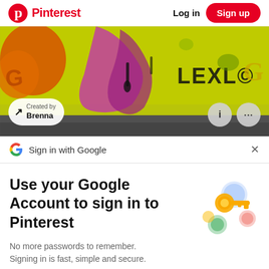Pinterest  Log in  Sign up
[Figure (photo): Graffiti wall with colorful street art, yellow/green painted wall with orange and purple/pink graffiti. A pill-shaped button reads 'Created by Brenna' with an arrow icon. Two circular buttons (info 'i' and more '...') appear on the right.]
Sign in with Google
Use your Google Account to sign in to Pinterest
No more passwords to remember. Signing in is fast, simple and secure.
[Figure (illustration): Google account key illustration showing a golden key with colorful circles (blue, green, yellow, red/pink) representing Google sign-in security]
Continue